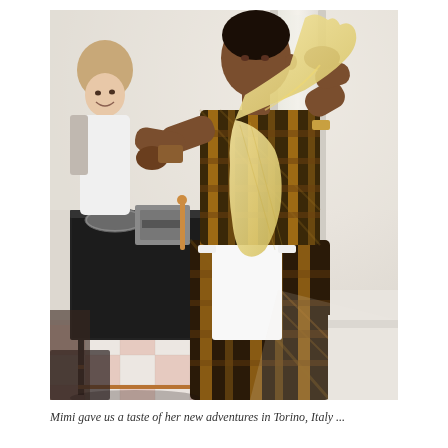[Figure (photo): A woman wearing a brown/gold plaid top and matching long skirt with a white apron, holding a sheet of fresh pasta dough while standing near a window. In the background, another person in a white apron stands near a pasta machine on a dark metal table. The floor has a checkered pink and white tile pattern.]
Mimi gave us a taste of her new adventures in Torino, Italy ...